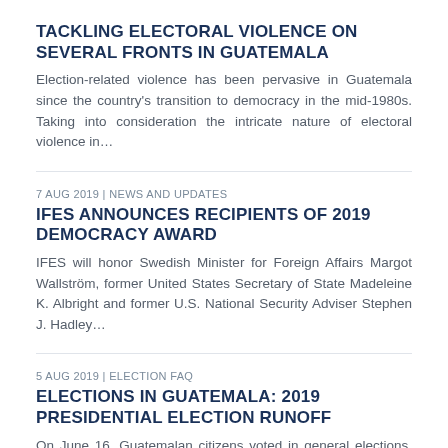TACKLING ELECTORAL VIOLENCE ON SEVERAL FRONTS IN GUATEMALA
Election-related violence has been pervasive in Guatemala since the country's transition to democracy in the mid-1980s. Taking into consideration the intricate nature of electoral violence in…
7 AUG 2019 | NEWS AND UPDATES
IFES ANNOUNCES RECIPIENTS OF 2019 DEMOCRACY AWARD
IFES will honor Swedish Minister for Foreign Affairs Margot Wallström, former United States Secretary of State Madeleine K. Albright and former U.S. National Security Adviser Stephen J. Hadley…
5 AUG 2019 | ELECTION FAQ
ELECTIONS IN GUATEMALA: 2019 PRESIDENTIAL ELECTION RUNOFF
On June 16, Guatemalan citizens voted in general elections. On August 11, they returned to the polls to elect their